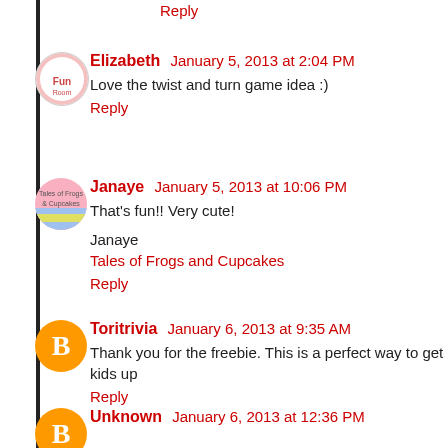Reply
Elizabeth January 5, 2013 at 2:04 PM
Love the twist and turn game idea :)
Reply
Janaye January 5, 2013 at 10:06 PM
That's fun!! Very cute!
Janaye
Tales of Frogs and Cupcakes
Reply
Toritrivia January 6, 2013 at 9:35 AM
Thank you for the freebie. This is a perfect way to get kids up
Reply
Unknown January 6, 2013 at 12:36 PM